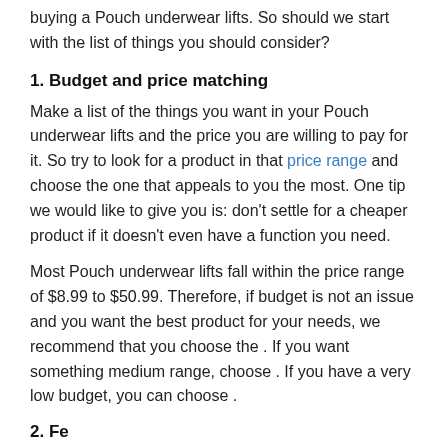buying a Pouch underwear lifts. So should we start with the list of things you should consider?
1. Budget and price matching
Make a list of the things you want in your Pouch underwear lifts and the price you are willing to pay for it. So try to look for a product in that price range and choose the one that appeals to you the most. One tip we would like to give you is: don't settle for a cheaper product if it doesn't even have a function you need.
Most Pouch underwear lifts fall within the price range of $8.99 to $50.99. Therefore, if budget is not an issue and you want the best product for your needs, we recommend that you choose the . If you want something medium range, choose . If you have a very low budget, you can choose .
2. Fe...